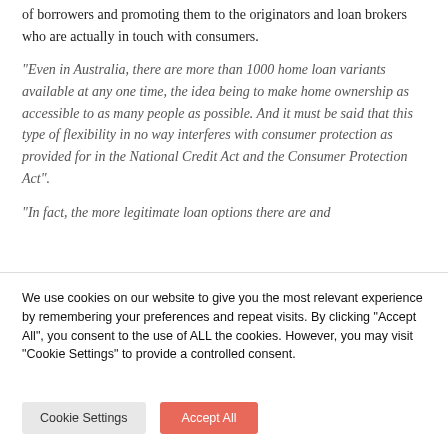of borrowers and promoting them to the originators and loan brokers who are actually in touch with consumers.
“Even in Australia, there are more than 1000 home loan variants available at any one time, the idea being to make home ownership as accessible to as many people as possible. And it must be said that this type of flexibility in no way interferes with consumer protection as provided for in the National Credit Act and the Consumer Protection Act”.
“In fact, the more legitimate loan options there are and the…
We use cookies on our website to give you the most relevant experience by remembering your preferences and repeat visits. By clicking “Accept All”, you consent to the use of ALL the cookies. However, you may visit "Cookie Settings" to provide a controlled consent.